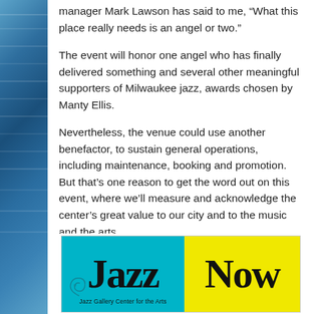manager Mark Lawson has said to me, “What this place really needs is an angel or two.”
The event will honor one angel who has finally delivered something and several other meaningful supporters of Milwaukee jazz, awards chosen by Manty Ellis.
Nevertheless, the venue could use another benefactor, to sustain general operations, including maintenance, booking and promotion. But that’s one reason to get the word out on this event, where we’ll measure and acknowledge the center’s great value to our city and to the music and the arts.
Come on down and let the good times roll.
[Figure (logo): Jazz Now - Jazz Gallery Center for the Arts logo with cyan and yellow background blocks and large bold serif text]